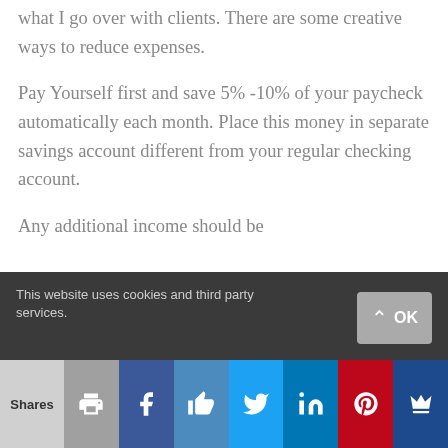what I go over with clients.  There are some creative ways to reduce expenses.
Pay Yourself first and save 5% -10% of your paycheck automatically each month.  Place this money in separate savings account different from your regular checking account.
Any additional income should be
This website uses cookies and third party services.